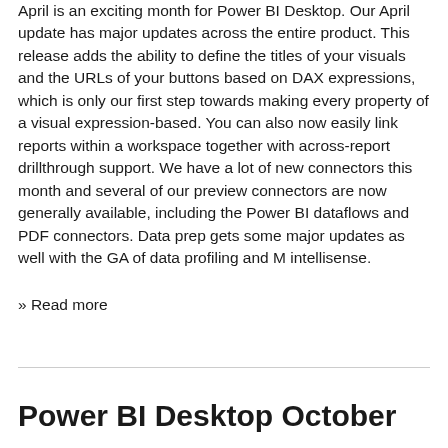April is an exciting month for Power BI Desktop. Our April update has major updates across the entire product. This release adds the ability to define the titles of your visuals and the URLs of your buttons based on DAX expressions, which is only our first step towards making every property of a visual expression-based. You can also now easily link reports within a workspace together with across-report drillthrough support. We have a lot of new connectors this month and several of our preview connectors are now generally available, including the Power BI dataflows and PDF connectors. Data prep gets some major updates as well with the GA of data profiling and M intellisense.
» Read more
Power BI Desktop October